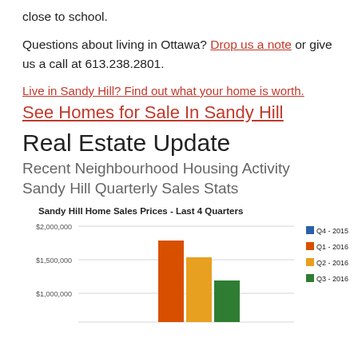close to school.
Questions about living in Ottawa? Drop us a note or give us a call at 613.238.2801.
Live in Sandy Hill? Find out what your home is worth.
See Homes for Sale In Sandy Hill
Real Estate Update
Recent Neighbourhood Housing Activity
Sandy Hill Quarterly Sales Stats
[Figure (bar-chart): Sandy Hill Home Sales Prices - Last 4 Quarters]